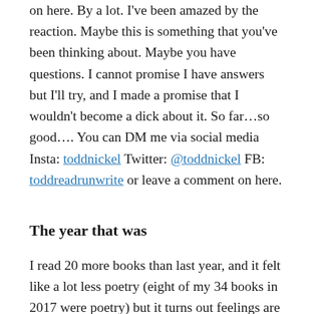on here. By a lot. I've been amazed by the reaction. Maybe this is something that you've been thinking about. Maybe you have questions. I cannot promise I have answers but I'll try, and I made a promise that I wouldn't become a dick about it. So far…so good…. You can DM me via social media Insta: toddnickel Twitter: @toddnickel FB: toddreadrunwrite or leave a comment on here.
The year that was
I read 20 more books than last year, and it felt like a lot less poetry (eight of my 34 books in 2017 were poetry) but it turns out feelings are crap since I read nine poetry books in 2018. I